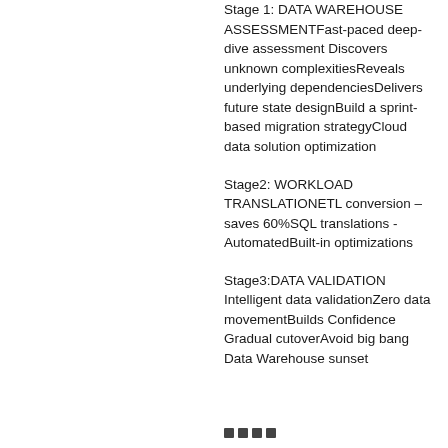Stage 1: DATA WAREHOUSE ASSESSMENTFast-paced deep-dive assessment Discovers unknown complexitiesReveals underlying dependenciesDelivers future state designBuild a sprint-based migration strategyCloud data solution optimization
Stage2: WORKLOAD TRANSLATIONETL conversion – saves 60%SQL translations - AutomatedBuilt-in optimizations
Stage3:DATA VALIDATION Intelligent data validationZero data movementBuilds Confidence Gradual cutoverAvoid big bang Data Warehouse sunset